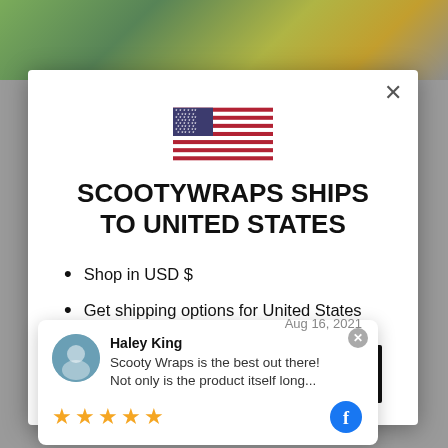[Figure (screenshot): Modal dialog on a website showing US flag, shipping information for United States, and a review card overlay]
SCOOTYWRAPS SHIPS TO UNITED STATES
Shop in USD $
Get shipping options for United States
Shop now
Haley King   Aug 16, 2021
Scooty Wraps is the best out there! Not only is the product itself long...